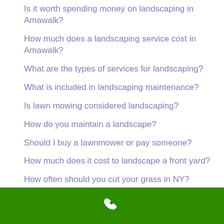Is it worth spending money on landscaping in Amawalk?
How much does a landscaping service cost in Amawalk?
What are the types of services for landscaping?
What is included in landscaping maintenance?
Is lawn mowing considered landscaping?
How do you maintain a landscape?
Should I buy a lawnmower or pay someone?
How much does it cost to landscape a front yard?
How often should you cut your grass in NY?
How much does TruGreen really cost?
Is it worth paying for lawn care?
Which is better lawn doctor or TruGreen 10501?
[Figure (other): Green footer bar with white phone icon]